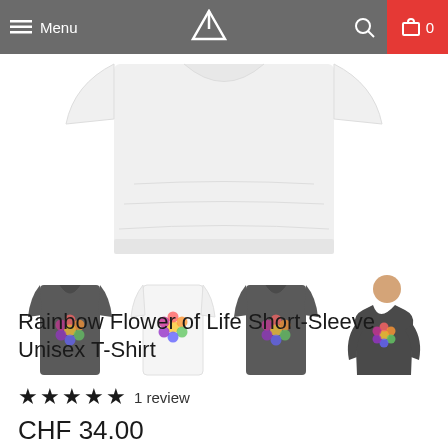Menu  [logo]  [search]  0
[Figure (photo): Main product image of a white t-shirt partially cropped at top]
[Figure (photo): Row of four product thumbnails: dark grey t-shirt with rainbow flower of life design (front), white t-shirt with rainbow flower of life design (back), dark grey t-shirt with rainbow flower of life design (front), person wearing dark grey t-shirt]
Rainbow Flower of Life Short-Sleeve Unisex T-Shirt
★★★★★ 1 review
CHF 34.00